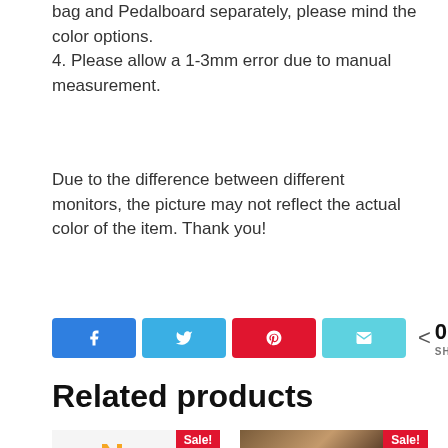bag and Pedalboard separately, please mind the color options.
4. Please allow a 1-3mm error due to manual measurement.
Due to the difference between different monitors, the picture may not reflect the actual color of the item. Thank you!
[Figure (infographic): Social share buttons: Facebook (blue), Twitter (blue), Pinterest (red), Email (cyan), and a share count showing 0 SHARES]
Related products
[Figure (photo): Product thumbnail with logo 'AhMUSIC' and a Sale! badge]
[Figure (photo): Product thumbnail showing guitar/instrument with a Sale! badge]